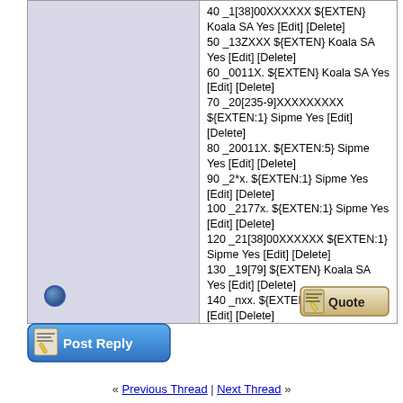40 _1[38]00XXXXXX ${EXTEN} Koala SA Yes [Edit] [Delete]
50 _13ZXXX ${EXTEN} Koala SA Yes [Edit] [Delete]
60 _0011X. ${EXTEN} Koala SA Yes [Edit] [Delete]
70 _20[235-9]XXXXXXXXX ${EXTEN:1} Sipme Yes [Edit] [Delete]
80 _20011X. ${EXTEN:5} Sipme Yes [Edit] [Delete]
90 _2*x. ${EXTEN:1} Sipme Yes [Edit] [Delete]
100 _2177x. ${EXTEN:1} Sipme Yes [Edit] [Delete]
120 _21[38]00XXXXXX ${EXTEN:1} Sipme Yes [Edit] [Delete]
130 _19[79] ${EXTEN} Koala SA Yes [Edit] [Delete]
140 _nxx. ${EXTEN} Koala SA Yes [Edit] [Delete]
[Figure (other): Quote button - a styled button with a pencil/paper icon and the text 'Quote']
[Figure (other): Post Reply button - a blue styled button with pencil/paper icon and the text 'Post Reply']
« Previous Thread | Next Thread »